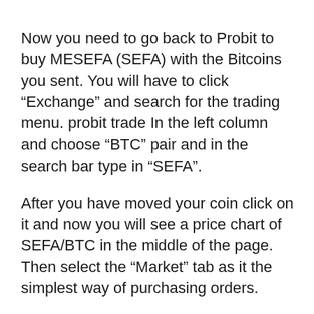Now you need to go back to Probit to buy MESEFA (SEFA) with the Bitcoins you sent. You will have to click “Exchange” and search for the trading menu. probit trade In the left column and choose “BTC” pair and in the search bar type in “SEFA”.
After you have moved your coin click on it and now you will see a price chart of SEFA/BTC in the middle of the page. Then select the “Market” tab as it the simplest way of purchasing orders.
You can either type in your amount or choose what portion of your BTC deposit you would like to spend on buying, by clicking on the percentage buttons.
When you have confirmed everything, click “Buy SEFA”. Now you own your SEFA!